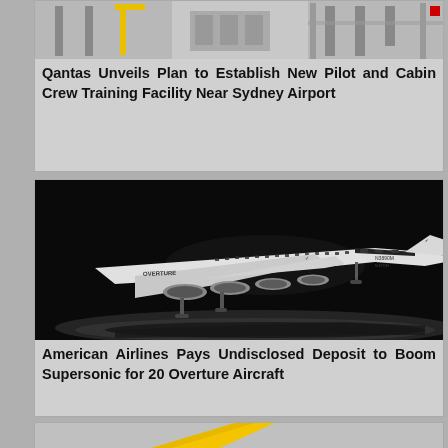[Figure (photo): Photo of a pilot and cabin crew training facility, showing aircraft simulators or training equipment in a hangar-like space.]
Qantas Unveils Plan to Establish New Pilot and Cabin Crew Training Facility Near Sydney Airport
[Figure (photo): Black and white dramatic low-angle photo of the Boom Overture supersonic aircraft (marked N1XOH / N3890M) on a dark stage, showing its sleek delta-wing design with the Overture livery and Boom logo.]
American Airlines Pays Undisclosed Deposit to Boom Supersonic for 20 Overture Aircraft
[Figure (photo): Partial photo showing a yellow aircraft tail or fuselage, likely a Qantas aircraft, cropped at the bottom of the page.]